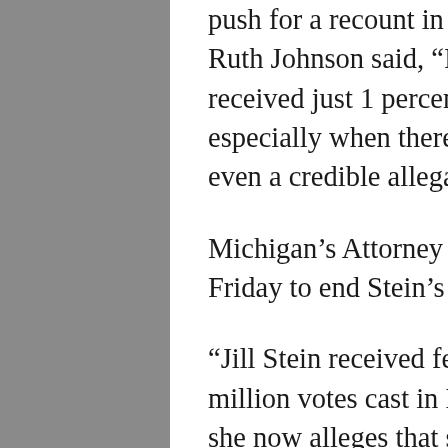push for a recount in the state, Michigan Secretary of State Ruth Johnson said, “It is unusual that a candidate who received just 1 percent of the vote is seeking a recount, especially when there is no evidence of hacking or fraud, or even a credible allegation of any tampering.”
Michigan’s Attorney General Bill Schuette, R, filed a suit Friday to end Stein’s recount demand in his state.
“Jill Stein received fewer than 52,000 of the more than 4.7 million votes cast in Michigan’s election for President, yet she now alleges that she is an ‘aggrieved’ candidate and demands a recount that has no possibility of changing the result of that election,” the lawsuit states, adding, “We have asked the court to end the